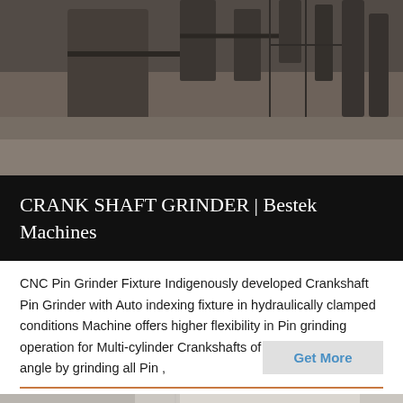[Figure (photo): Industrial machinery / crankshaft grinder equipment in a factory setting, sepia/dark toned photograph]
CRANK SHAFT GRINDER | Bestek Machines
CNC Pin Grinder Fixture Indigenously developed Crankshaft Pin Grinder with Auto indexing fixture in hydraulically clamped conditions Machine offers higher flexibility in Pin grinding operation for Multi-cylinder Crankshafts of different indexing angle by grinding all Pin ,
Get More
[Figure (photo): Industrial machinery interior, close-up of mechanical components with cylindrical parts visible, light toned photograph]